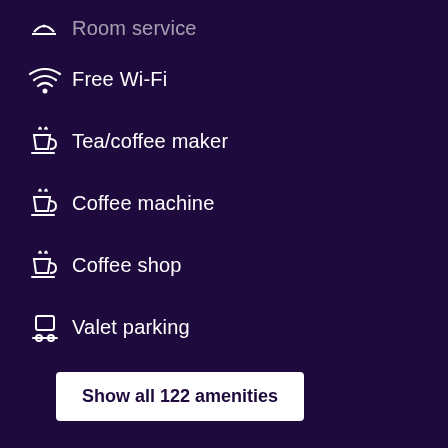Room service
Free Wi-Fi
Tea/coffee maker
Coffee machine
Coffee shop
Valet parking
Show all 122 amenities
Places of interest near Crowne Plaza Melbourne